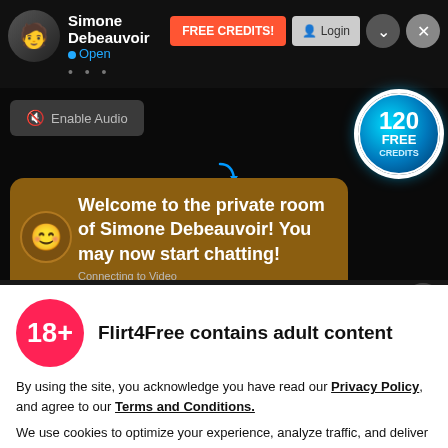Simone Debeauvoir • Open
Welcome to the private room of Simone Debeauvoir! You may now start chatting! Connecting to Video
[Figure (other): 18+ age gate modal dialog for Flirt4Free adult content site. Shows a pink 18+ badge, title 'Flirt4Free contains adult content', privacy policy and terms text, and an 'I AGREE' button.]
Flirt4Free contains adult content
By using the site, you acknowledge you have read our Privacy Policy, and agree to our Terms and Conditions.
We use cookies to optimize your experience, analyze traffic, and deliver more personalized service. To learn more, please see our Privacy Policy.
I AGREE